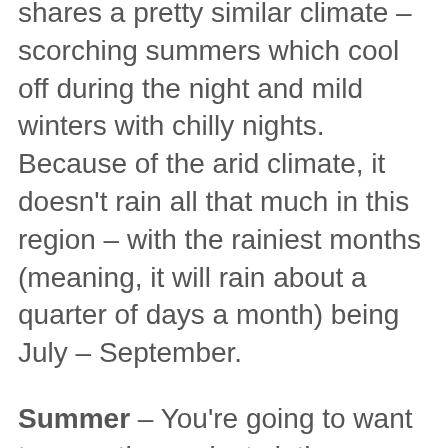shares a pretty similar climate – scorching summers which cool off during the night and mild winters with chilly nights. Because of the arid climate, it doesn't rain all that much in this region – with the rainiest months (meaning, it will rain about a quarter of days a month) being July – September.
Summer – You're going to want to wear the coolest clothes possible. A t-shirt and light hippy pants are probably your best bet. Pack a rain jacket for the occasional